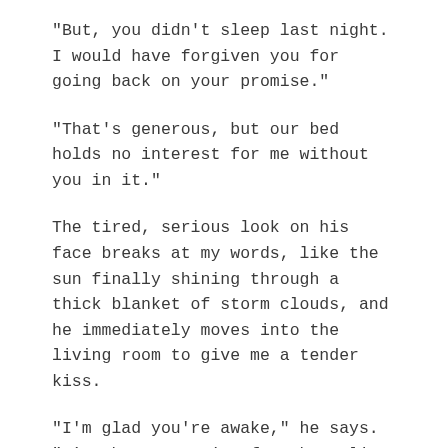“But, you didn’t sleep last night. I would have forgiven you for going back on your promise.”
“That’s generous, but our bed holds no interest for me without you in it.”
The tired, serious look on his face breaks at my words, like the sun finally shining through a thick blanket of storm clouds, and he immediately moves into the living room to give me a tender kiss.
“I’m glad you’re awake,” he says. “I’ve been yearning for these lips all day.”
“Mmm,” I hum in response. “Then I’m glad I stayed